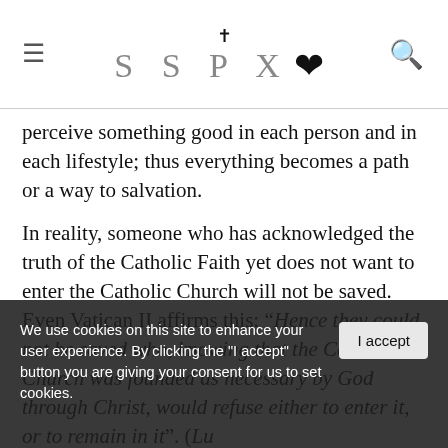SSPX
perceive something good in each person and in each lifestyle; thus everything becomes a path or a way to salvation.
In reality, someone who has acknowledged the truth of the Catholic Faith yet does not want to enter the Catholic Church will not be saved. Even Vatican II affirms this: “Hence they could not be saved who, knowing that the Catholic Church was founded as necessary by God through Christ, would refuse either to enter it, or to remain in it”. (Lumen Gentium, 14). Those who believe in other religions can be saved, therefore, only if they live in ignorance through no fault of their own and they do what their conscience tells them. Similarly, those who...
We use cookies on this site to enhance your user experience. By clicking the “I accept” button you are giving your consent for us to set cookies.